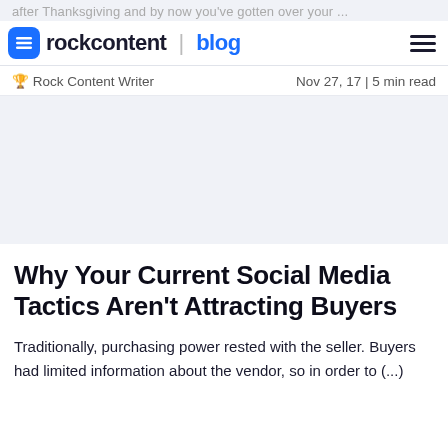after Thanksgiving and by now you've gotten over your ...
rockcontent | blog
Rock Content Writer   Nov 27, 17 | 5 min read
[Figure (other): Advertisement/blank space area with light blue-gray background]
Why Your Current Social Media Tactics Aren't Attracting Buyers
Traditionally, purchasing power rested with the seller. Buyers had limited information about the vendor, so in order to (...)